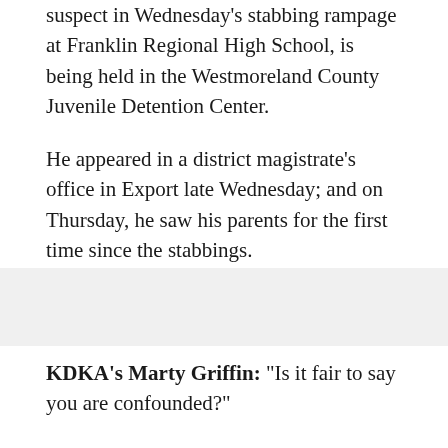suspect in Wednesday's stabbing rampage at Franklin Regional High School, is being held in the Westmoreland County Juvenile Detention Center.
He appeared in a district magistrate's office in Export late Wednesday; and on Thursday, he saw his parents for the first time since the stabbings.
KDKA's Ralph Iannotti Reports:
[Figure (other): Gray bar placeholder for video/media embed]
KDKA's Marty Griffin: "Is it fair to say you are confounded?"
Pat Thomassey: "I am, I am, because everything I have heard from people surrounding this young man, and my interaction with him now, it just doesn't